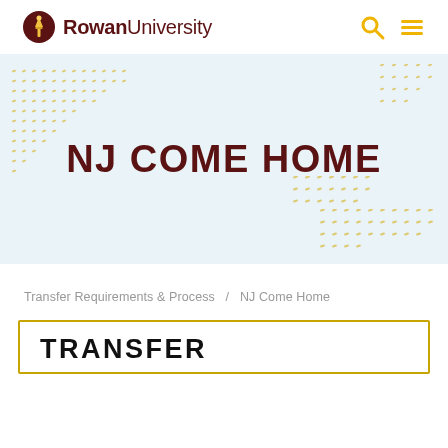Rowan University
[Figure (illustration): Rowan University hero banner with 'NJ Come Home' title text and decorative dot patterns on light blue background]
NJ COME HOME
Transfer Requirements & Process / NJ Come Home
TRANSFER